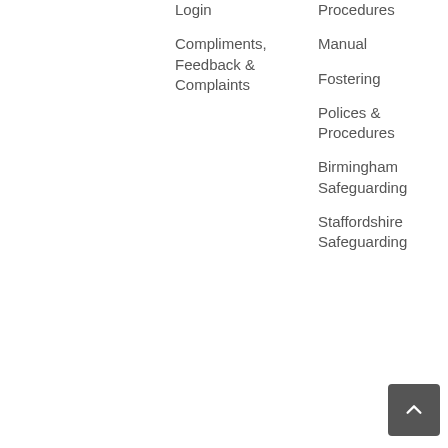Login
Compliments, Feedback & Complaints
Procedures
Manual
Fostering
Polices & Procedures
Birmingham Safeguarding
Staffordshire Safeguarding